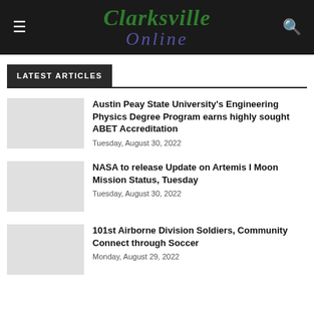Clarksville Online
LATEST ARTICLES
Austin Peay State University's Engineering Physics Degree Program earns highly sought ABET Accreditation
Tuesday, August 30, 2022
NASA to release Update on Artemis I Moon Mission Status, Tuesday
Tuesday, August 30, 2022
101st Airborne Division Soldiers, Community Connect through Soccer
Monday, August 29, 2022